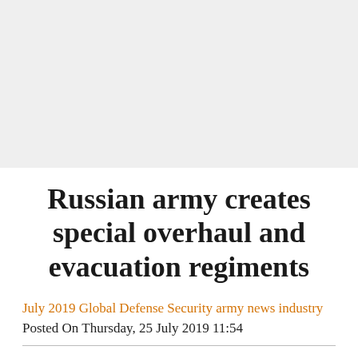[Figure (other): Gray placeholder area at top of page, representing an advertisement or image space]
Russian army creates special overhaul and evacuation regiments
July 2019 Global Defense Security army news industry
Posted On Thursday, 25 July 2019 11:54
The Russian Defense Ministry is upgrading the overhaul of faulty